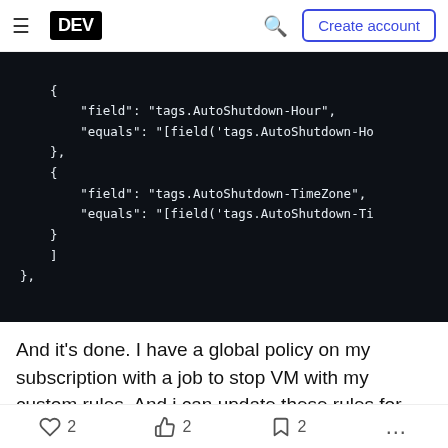DEV | Create account
{
        "field": "tags.AutoShutdown-Hour",
        "equals": "[field('tags.AutoShutdown-Ho
    },
    {
        "field": "tags.AutoShutdown-TimeZone",
        "equals": "[field('tags.AutoShutdown-Ti
    }
    ]
},
And it's done. I have a global policy on my subscription with a job to stop VM with my custom rules. And i can update these rules for each VM, only
2  2  2  ...